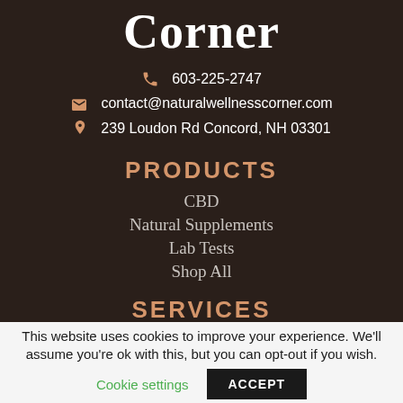Corner
603-225-2747
contact@naturalwellnesscorner.com
239 Loudon Rd Concord, NH 03301
PRODUCTS
CBD
Natural Supplements
Lab Tests
Shop All
SERVICES
This website uses cookies to improve your experience. We'll assume you're ok with this, but you can opt-out if you wish.
Cookie settings  ACCEPT